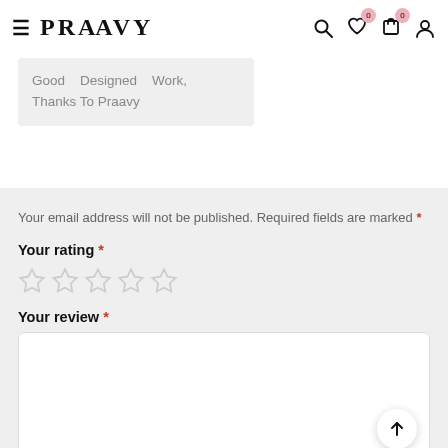PRAAVY — navigation header with search, wishlist (0), cart (0), account icons
Good   Designed   Work, Thanks To Praavy
Your email address will not be published. Required fields are marked *
Your rating *
[Figure (other): Five empty/unselected star rating icons in a row]
Your review *
[Figure (other): Empty white textarea for review input with a scroll-to-top arrow button in bottom-right corner]